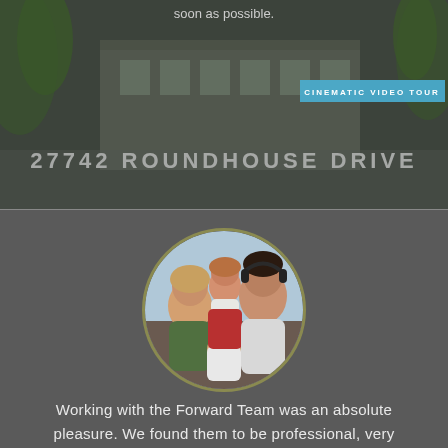soon as possible.
[Figure (photo): Top banner showing a building facade with text '27742 ROUNDHOUSE DRIVE' and a 'CINEMATIC VIDEO TOUR' badge]
[Figure (photo): Circular profile photo of a family of four - a woman, a young girl, a man, and a baby]
Working with the Forward Team was an absolute pleasure. We found them to be professional, very